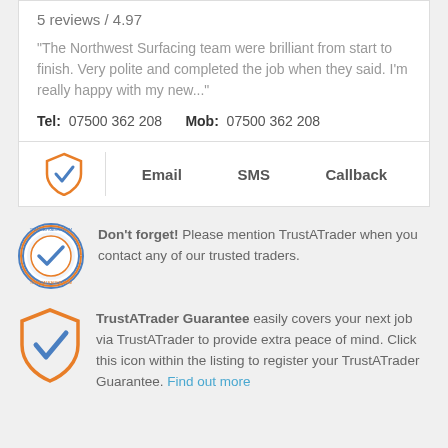5 reviews / 4.97
"The Northwest Surfacing team were brilliant from start to finish. Very polite and completed the job when they said. I'm really happy with my new..."
Tel: 07500 362 208    Mob: 07500 362 208
|  | Email | SMS | Callback |
| --- | --- | --- | --- |
Don't forget! Please mention TrustATrader when you contact any of our trusted traders.
TrustATrader Guarantee easily covers your next job via TrustATrader to provide extra peace of mind. Click this icon within the listing to register your TrustATrader Guarantee. Find out more